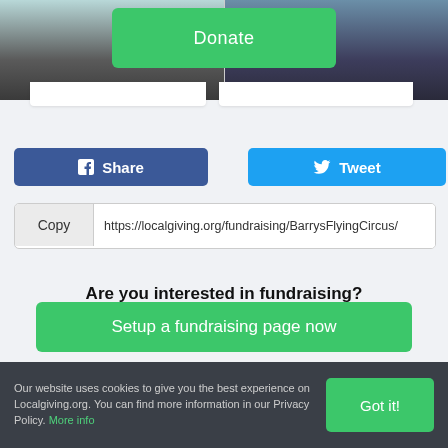[Figure (screenshot): Top section showing two images side by side with a green Donate button overlaid on top]
[Figure (screenshot): Facebook Share button (blue) and Twitter Tweet button (light blue)]
Copy   https://localgiving.org/fundraising/BarrysFlyingCircus/
Are you interested in fundraising?
Setup a fundraising page now
Our website uses cookies to give you the best experience on Localgiving.org. You can find more information in our Privacy Policy. More info
Got it!